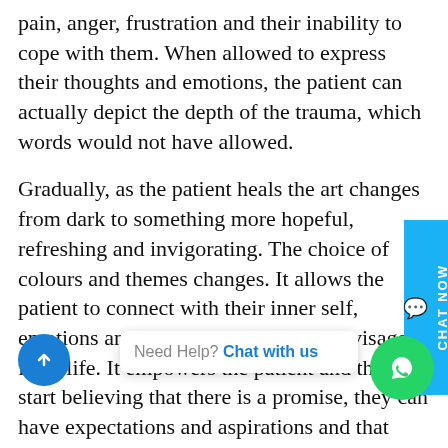pain, anger, frustration and their inability to cope with them. When allowed to express their thoughts and emotions, the patient can actually depict the depth of the trauma, which words would not have allowed.
Gradually, as the patient heals the art changes from dark to something more hopeful, refreshing and invigorating. The choice of colours and themes changes. It allows the patient to connect with their inner self, emotions and what is that that they envisage from life. It empowers the patient and they start believing that there is a promise, they can have expectations and aspirations and that their dreams will come true.
A versatile therapy
Art therapy in itself is layers. It can be combined with other therapeutic interventions like...